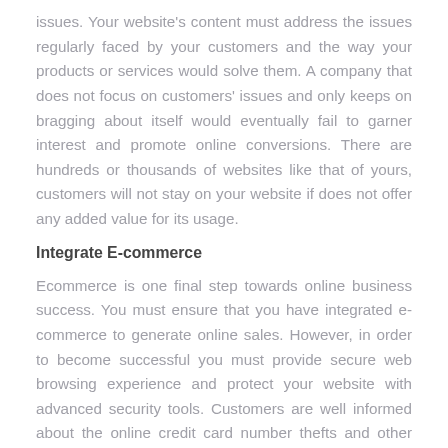issues. Your website's content must address the issues regularly faced by your customers and the way your products or services would solve them. A company that does not focus on customers' issues and only keeps on bragging about itself would eventually fail to garner interest and promote online conversions. There are hundreds or thousands of websites like that of yours, customers will not stay on your website if does not offer any added value for its usage.
Integrate E-commerce
Ecommerce is one final step towards online business success. You must ensure that you have integrated e-commerce to generate online sales. However, in order to become successful you must provide secure web browsing experience and protect your website with advanced security tools. Customers are well informed about the online credit card number thefts and other issues of similar nature. They will not interact with a website that they find suspicious. Therefore, make sure